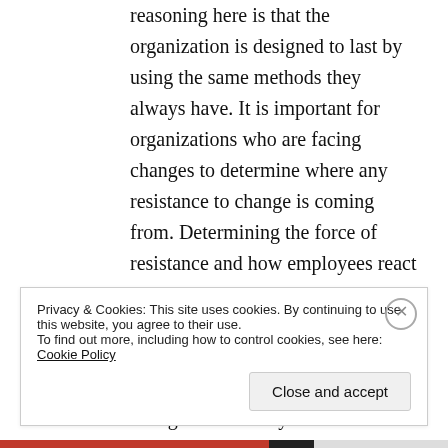reasoning here is that the organization is designed to last by using the same methods they always have. It is important for organizations who are facing changes to determine where any resistance to change is coming from. Determining the force of resistance and how employees react to change will help in guiding the organization in the proper direction for success. “However, resistance depends heavily on the scale of change and the way it is implemented. The reactions of
Privacy & Cookies: This site uses cookies. By continuing to use this website, you agree to their use.
To find out more, including how to control cookies, see here: Cookie Policy